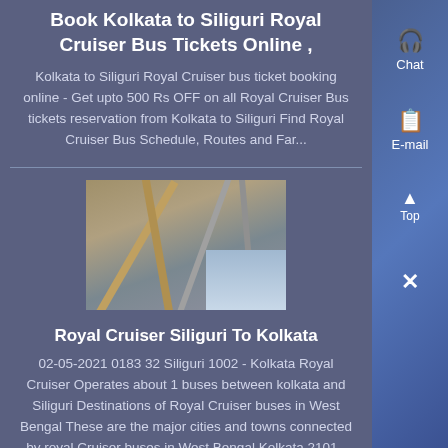Book Kolkata to Siliguri Royal Cruiser Bus Tickets Online ,
Kolkata to Siliguri Royal Cruiser bus ticket booking online - Get upto 500 Rs OFF on all Royal Cruiser Bus tickets reservation from Kolkata to Siliguri Find Royal Cruiser Bus Schedule, Routes and Far...
[Figure (photo): Photo of construction scaffolding or steel beams against a sky background]
Royal Cruiser Siliguri To Kolkata
02-05-2021 0183 32 Siliguri 1002 - Kolkata Royal Cruiser Operates about 1 buses between kolkata and Siliguri Destinations of Royal Cruiser buses in West Bengal These are the major cities and towns connected by royal Cruiser buses in West Bengal Kolkata 2101 - Asansol There are 4 luxury buses operated by Royal cruiser between Siliguri to Calcutta...